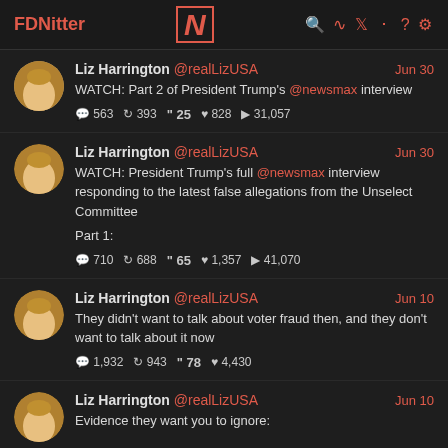FDNitter | N | search rss twitter loop ? settings
Liz Harrington @realLizUSA Jun 30
WATCH: Part 2 of President Trump's @newsmax interview
563  393  25  828  31,057
Liz Harrington @realLizUSA Jun 30
WATCH: President Trump's full @newsmax interview responding to the latest false allegations from the Unselect Committee
Part 1:
710  688  65  1,357  41,070
Liz Harrington @realLizUSA Jun 10
They didn't want to talk about voter fraud then, and they don't want to talk about it now
1,932  943  78  4,430
Liz Harrington @realLizUSA Jun 10
Evidence they want you to ignore: